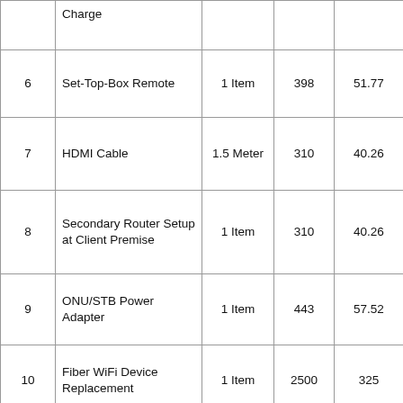|  |  |  |  |  |  |
| --- | --- | --- | --- | --- | --- |
|  | Charge |  |  |  |  |
| 6 | Set-Top-Box Remote | 1 Item | 398 | 51.77 | 450 |
| 7 | HDMI Cable | 1.5 Meter | 310 | 40.26 | 350 |
| 8 | Secondary Router Setup at Client Premise | 1 Item | 310 | 40.26 | 350 |
| 9 | ONU/STB Power Adapter | 1 Item | 443 | 57.52 | 500 |
| 10 | Fiber WiFi Device Replacement | 1 Item | 2500 | 325 | 2825 |
| 11 | Set-Top-Box Replacement | 1 Item | 2500 | 325 | 2825 |